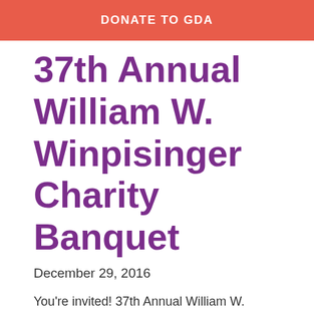DONATE TO GDA
37th Annual William W. Winpisinger Charity Banquet
December 29, 2016
You're invited! 37th Annual William W. Winpisinger Charity Banquet Join Guide Dogs of America as we honor the 2017 Recipients